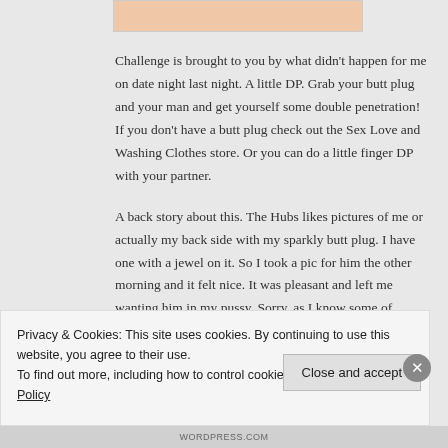[Figure (photo): Partial cropped image with peach/skin tone background at the top of the page]
Challenge is brought to you by what didn't happen for me on date night last night. A little DP. Grab your butt plug and your man and get yourself some double penetration! If you don't have a butt plug check out the Sex Love and Washing Clothes store. Or you can do a little finger DP with your partner.
A back story about this. The Hubs likes pictures of me or actually my back side with my sparkly butt plug. I have one with a jewel on it. So I took a pic for him the other morning and it felt nice. It was pleasant and left me wanting him in my pussy. Sorry, as I know some of
Privacy & Cookies: This site uses cookies. By continuing to use this website, you agree to their use.
To find out more, including how to control cookies, see here: Cookie Policy
Close and accept
WORDPRESS.COM